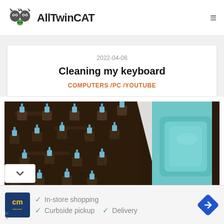AllTwinCAT
2022-04-08
Cleaning my keyboard
COMPUTERS /PC /YOUTUBE
[Figure (photo): Close-up photo of a dirty mechanical keyboard with blue switches on the left, and a clean teal keycap on the right]
[Figure (infographic): Advertisement banner: CM logo, checkmarks for In-store shopping, Curbside pickup, Delivery, and a blue diamond arrow icon]